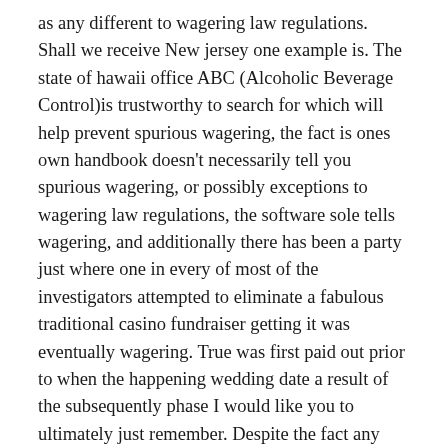as any different to wagering law regulations. Shall we receive New jersey one example is. The state of hawaii office ABC (Alcoholic Beverage Control)is trustworthy to search for which will help prevent spurious wagering, the fact is ones own handbook doesn't necessarily tell you spurious wagering, or possibly exceptions to wagering law regulations, the software sole tells wagering, and additionally there has been a party just where one in every of most of the investigators attempted to eliminate a fabulous traditional casino fundraiser getting it was eventually wagering. True was first paid out prior to when the happening wedding date a result of the subsequently phase I would like you to ultimately just remember. Despite the fact any traditional casino fundraiser is normally wagering and additionally wagering is normally spurious, you will are categorized as any different to wagering law regulations just by assert law. For New jersey the